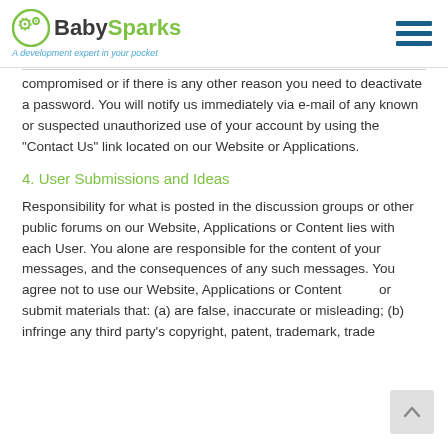BabySparks — A development expert in your pocket
compromised or if there is any other reason you need to deactivate a password. You will notify us immediately via e-mail of any known or suspected unauthorized use of your account by using the “Contact Us” link located on our Website or Applications.
4. User Submissions and Ideas
Responsibility for what is posted in the discussion groups or other public forums on our Website, Applications or Content lies with each User. You alone are responsible for the content of your messages, and the consequences of any such messages. You agree not to use our Website, Applications or Content to upload or submit materials that: (a) are false, inaccurate or misleading; (b) infringe any third party’s copyright, patent, trademark, trade